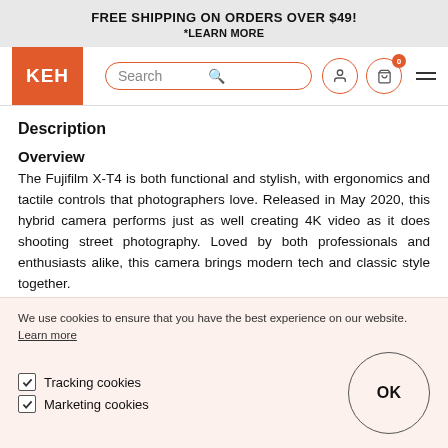FREE SHIPPING ON ORDERS OVER $49!
*LEARN MORE
[Figure (screenshot): KEH camera store navigation bar with logo, search bar, user icon, cart icon with badge showing 0, and hamburger menu]
Description
Overview
The Fujifilm X-T4 is both functional and stylish, with ergonomics and tactile controls that photographers love. Released in May 2020, this hybrid camera performs just as well creating 4K video as it does shooting street photography. Loved by both professionals and enthusiasts alike, this camera brings modern tech and classic style together.
Details
The Fujifilm X-T4 is a solidly-built, well-machined and expertly-
We use cookies to ensure that you have the best experience on our website. Learn more
☑ Tracking cookies
☑ Marketing cookies
OK